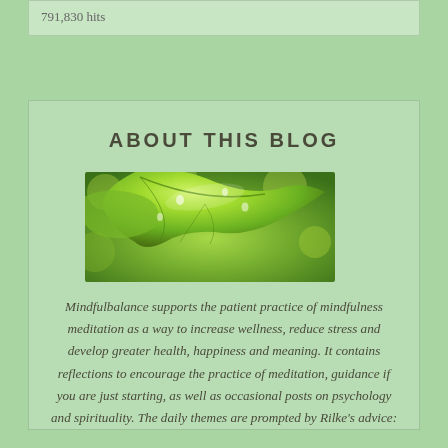791,830 hits
ABOUT THIS BLOG
[Figure (photo): Close-up photo of green leaf with water droplets on a blurred green background]
Mindfulbalance supports the patient practice of mindfulness meditation as a way to increase wellness, reduce stress and develop greater health, happiness and meaning. It contains reflections to encourage the practice of meditation, guidance if you are just starting, as well as occasional posts on psychology and spirituality. The daily themes are prompted by Rilke's advice: